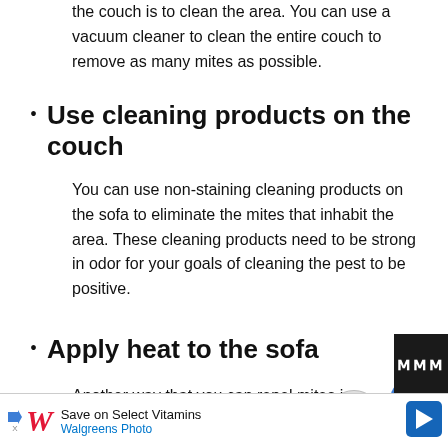the couch is to clean the area. You can use a vacuum cleaner to clean the entire couch to remove as many mites as possible.
Use cleaning products on the couch
You can use non-staining cleaning products on the sofa to eliminate the mites that inhabit the area. These cleaning products need to be strong in odor for your goals of cleaning the pest to be positive.
Apply heat to the sofa
Another way that you can repel mites is by applying some heat to the sofa where they live. You can use air vacuum to kill the mites quickly and thus prevent the
[Figure (infographic): Bottom advertisement bar: Walgreens Photo — Save on Select Vitamins, with navigation arrow icon and dark overlay. Floating UI buttons: heart (favorite), chevron up (back to top), share icon.]